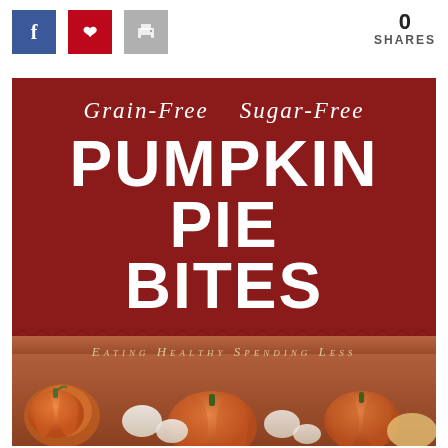[Figure (infographic): Social share buttons: Facebook (blue), Pinterest (red), Print (gray)]
0
SHARES
[Figure (infographic): Dark red card with script text 'Grain-Free  Sugar-Free', bold title 'PUMPKIN PIE BITES', tagline 'EATING HEALTHY SPENDING LESS', decorative scallop bottom edge, and photo of pumpkins and pie bites at bottom]